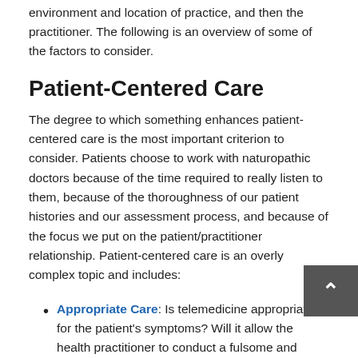environment and location of practice, and then the practitioner. The following is an overview of some of the factors to consider.
Patient-Centered Care
The degree to which something enhances patient-centered care is the most important criterion to consider. Patients choose to work with naturopathic doctors because of the time required to really listen to them, because of the thoroughness of our patient histories and our assessment process, and because of the focus we put on the patient/practitioner relationship. Patient-centered care is an overly complex topic and includes:
Appropriate Care: Is telemedicine appropriate for the patient's symptoms? Will it allow the health practitioner to conduct a fulsome and appropriate assessment and make